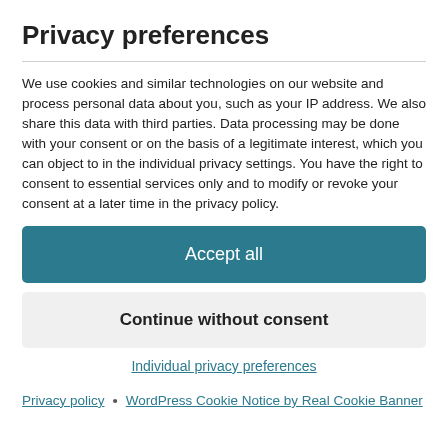Privacy preferences
We use cookies and similar technologies on our website and process personal data about you, such as your IP address. We also share this data with third parties. Data processing may be done with your consent or on the basis of a legitimate interest, which you can object to in the individual privacy settings. You have the right to consent to essential services only and to modify or revoke your consent at a later time in the privacy policy.
Accept all
Continue without consent
Individual privacy preferences
Privacy policy • WordPress Cookie Notice by Real Cookie Banner